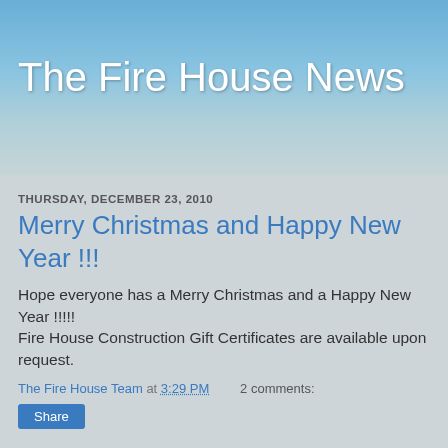The Fire House News
THURSDAY, DECEMBER 23, 2010
Merry Christmas and Happy New Year !!!
Hope everyone has a Merry Christmas and a Happy New Year !!!!!
Fire House Construction Gift Certificates are available upon request.
The Fire House Team at 3:29 PM   2 comments:
Share
THURSDAY, DECEMBER 16, 2010
Tips for frozen pipes issues